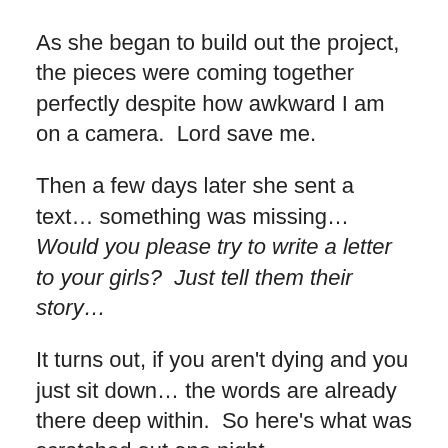As she began to build out the project, the pieces were coming together perfectly despite how awkward I am on a camera.  Lord save me.
Then a few days later she sent a text… something was missing…  Would you please try to write a letter to your girls?  Just tell them their story…
It turns out, if you aren't dying and you just sit down… the words are already there deep within.  So here's what was scratched out one night…
My sweet girls, let me tell you a story.
It's your story… and mine, a perfectly written, beautifully broken, story of reckless love.
It started with a dream from a brave girl, who told me you